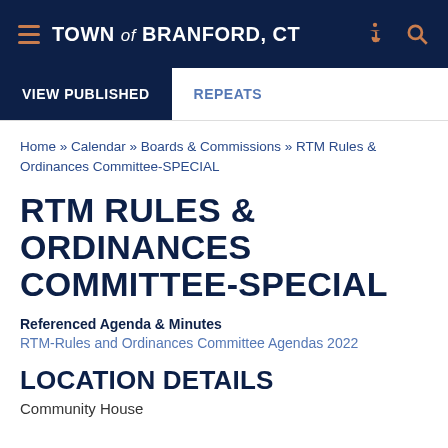TOWN of BRANFORD, CT
VIEW PUBLISHED | REPEATS
Home » Calendar » Boards & Commissions » RTM Rules & Ordinances Committee-SPECIAL
RTM RULES & ORDINANCES COMMITTEE-SPECIAL
Referenced Agenda & Minutes
RTM-Rules and Ordinances Committee Agendas 2022
LOCATION DETAILS
Community House